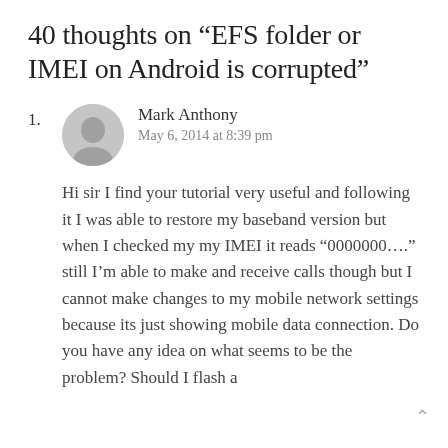40 thoughts on “EFS folder or IMEI on Android is corrupted”
1. Mark Anthony
May 6, 2014 at 8:39 pm

Hi sir I find your tutorial very useful and following it I was able to restore my baseband version but when I checked my my IMEI it reads “0000000….” still I’m able to make and receive calls though but I cannot make changes to my mobile network settings because its just showing mobile data connection. Do you have any idea on what seems to be the problem? Should I flash a